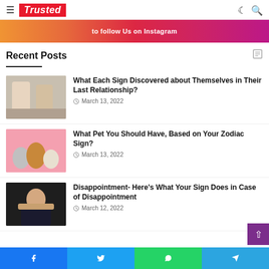Trusted
[Figure (infographic): Instagram follow us banner with orange to purple gradient]
Recent Posts
What Each Sign Discovered about Themselves in Their Last Relationship? — March 13, 2022
What Pet You Should Have, Based on Your Zodiac Sign? — March 13, 2022
Disappointment- Here's What Your Sign Does in Case of Disappointment — March 12, 2022
Facebook  Twitter  WhatsApp  Telegram